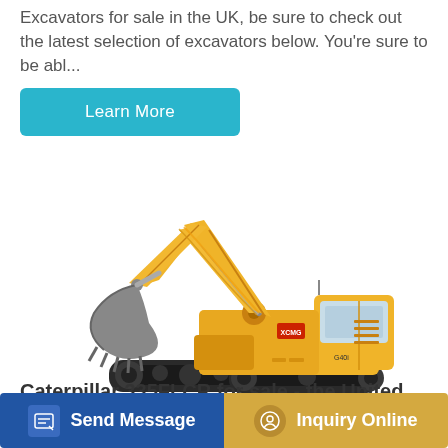Excavators for sale in the UK, be sure to check out the latest selection of excavators below. You're sure to be abl...
Learn More
[Figure (photo): Yellow large excavator/digger with bucket arm extended, crawler tracks, shown on white background]
Caterpillar 335FLCR for sale - the United
Send Message
Inquiry Online